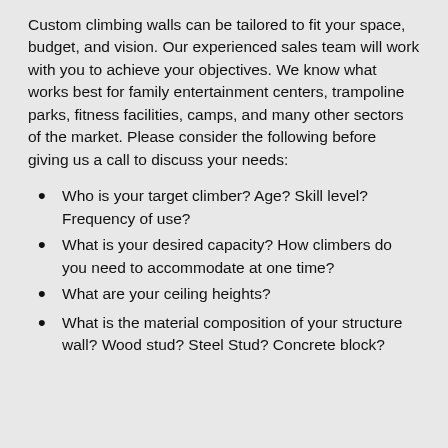Custom climbing walls can be tailored to fit your space, budget, and vision. Our experienced sales team will work with you to achieve your objectives. We know what works best for family entertainment centers, trampoline parks, fitness facilities, camps, and many other sectors of the market. Please consider the following before giving us a call to discuss your needs:
Who is your target climber? Age? Skill level? Frequency of use?
What is your desired capacity? How climbers do you need to accommodate at one time?
What are your ceiling heights?
What is the material composition of your structure wall? Wood stud? Steel Stud? Concrete block?